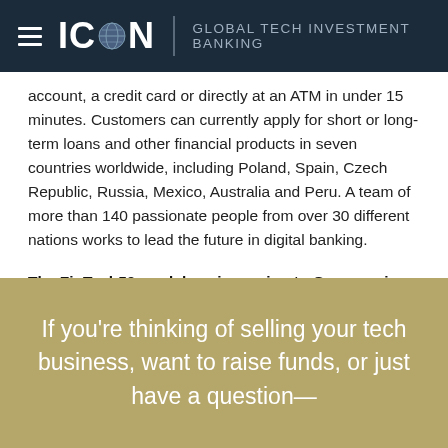ICON | GLOBAL TECH INVESTMENT BANKING
account, a credit card or directly at an ATM in under 15 minutes. Customers can currently apply for short or long-term loans and other financial products in seven countries worldwide, including Poland, Spain, Czech Republic, Russia, Mexico, Australia and Peru. A team of more than 140 passionate people from over 30 different nations works to lead the future in digital banking.
The FinTech50 roadshow is coming to Germany in October - check our events page for details
If you’re thinking of selling your tech business, want to raise funds, or just have a question—